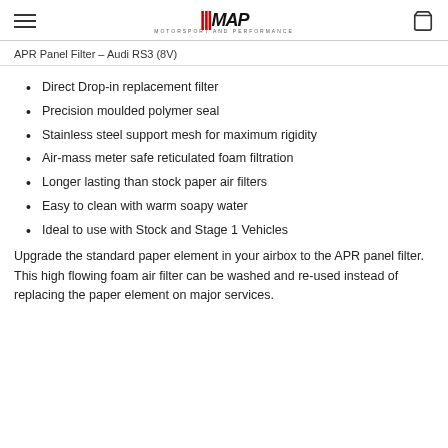MAP Motorsport and Performance
APR Panel Filter – Audi RS3 (8V)
Direct Drop-in replacement filter
Precision moulded polymer seal
Stainless steel support mesh for maximum rigidity
Air-mass meter safe reticulated foam filtration
Longer lasting than stock paper air filters
Easy to clean with warm soapy water
Ideal to use with Stock and Stage 1 Vehicles
Upgrade the standard paper element in your airbox to the APR panel filter. This high flowing foam air filter can be washed and re-used instead of replacing the paper element on major services.